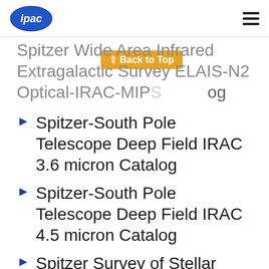[Figure (logo): IPAC logo — blue ellipse with 'ipac' text in white]
Spitzer Wide-Area Infrared Extragalactic Survey ELAIS-N2 Optical-IRAC-MIPS Catalog
Spitzer-South Pole Telescope Deep Field IRAC 3.6 micron Catalog
Spitzer-South Pole Telescope Deep Field IRAC 4.5 micron Catalog
Spitzer Survey of Stellar Structure in Galaxies Catalog